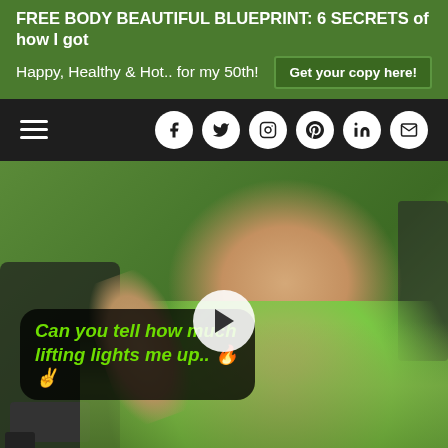FREE BODY BEAUTIFUL BLUEPRINT: 6 SECRETS of how I got Happy, Healthy & Hot.. for my 50th! | Get your copy here!
Navigation bar with hamburger menu and social icons: Facebook, Twitter, Instagram, Pinterest, LinkedIn, Email
[Figure (photo): Woman in green sports bra at gym making peace sign, smiling at camera. Text overlay reads 'Can you tell how much lifting lights me up.. 🔥✌️'. A white play button is centered on the image.]